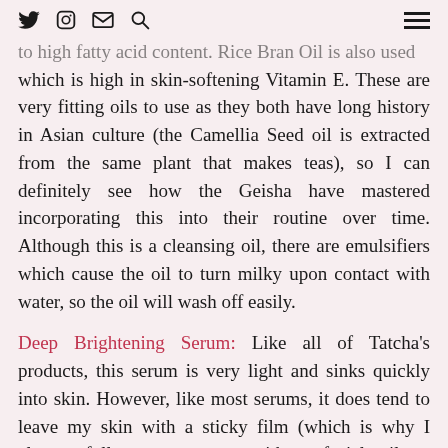Twitter Instagram Email Search [hamburger menu]
to high fatty acid content. Rice Bran Oil is also used which is high in skin-softening Vitamin E. These are very fitting oils to use as they both have long history in Asian culture (the Camellia Seed oil is extracted from the same plant that makes teas), so I can definitely see how the Geisha have mastered incorporating this into their routine over time. Although this is a cleansing oil, there are emulsifiers which cause the oil to turn milky upon contact with water, so the oil will wash off easily.
Deep Brightening Serum: Like all of Tatcha's products, this serum is very light and sinks quickly into skin. However, like most serums, it does tend to leave my skin with a sticky film (which is why I always follow up serums with a facial oil or moisturizer). The first time I applied this serum, I could 'feel' it go to work. It's hard to describe as there wasn't a tingling or adverse reaction, but I knew it was doing something. That initial sensitivity subsided after continued use. The main